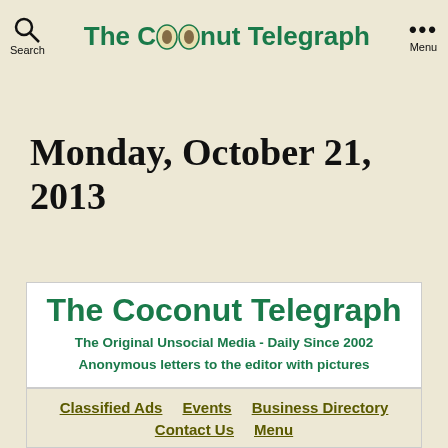The Coconut Telegraph
Monday, October 21, 2013
[Figure (logo): The Coconut Telegraph logo banner with tagline: The Original Unsocial Media - Daily Since 2002. Anonymous letters to the editor with pictures.]
Classified Ads  Events  Business Directory  Contact Us  Menu